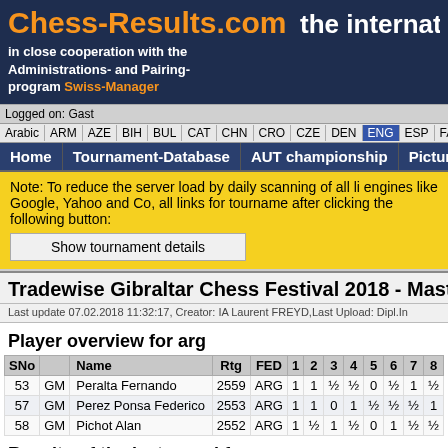Chess-Results.com  the internatio
in close cooperation with the Administrations- and Pairing-program Swiss-Manager
Logged on: Gast
Arabic | ARM | AZE | BIH | BUL | CAT | CHN | CRO | CZE | DEN | ENG | ESP | FAI | FIN | FRA | GER | GRE | INA
Home | Tournament-Database | AUT championship | Pictures | FAQ
Note: To reduce the server load by daily scanning of all li engines like Google, Yahoo and Co, all links for tourname after clicking the following button:
Show tournament details
Tradewise Gibraltar Chess Festival 2018 - Mast
Last update 07.02.2018 11:32:17, Creator: IA Laurent FREYD,Last Upload: Dipl.In
Player overview for arg
| SNo |  | Name | Rtg | FED | 1 | 2 | 3 | 4 | 5 | 6 | 7 | 8 |
| --- | --- | --- | --- | --- | --- | --- | --- | --- | --- | --- | --- | --- |
| 53 | GM | Peralta Fernando | 2559 | ARG | 1 | 1 | ½ | ½ | 0 | ½ | 1 | ½ |
| 57 | GM | Perez Ponsa Federico | 2553 | ARG | 1 | 1 | 0 | 1 | ½ | ½ | ½ | 1 |
| 58 | GM | Pichot Alan | 2552 | ARG | 1 | ½ | 1 | ½ | 0 | 1 | ½ | ½ |
Results of the last round for arg
| Rd | Bo | No | Name | Rtg | Pts | Result | Pts |
| --- | --- | --- | --- | --- | --- | --- | --- |